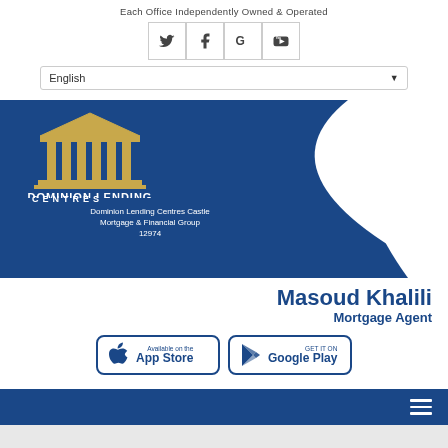Each Office Independently Owned & Operated
[Figure (screenshot): Social media icons: Twitter, Facebook, Google+, YouTube in bordered boxes]
[Figure (screenshot): Language selector dropdown showing 'English']
[Figure (logo): Dominion Lending Centres logo with Greek temple columns icon on blue banner background. Text: Dominion Lending Centres Castle Mortgage & Financial Group 12974]
Masoud Khalili
Mortgage Agent
[Figure (screenshot): App Store and Google Play store badges]
[Figure (screenshot): Blue navigation bar with hamburger menu icon]